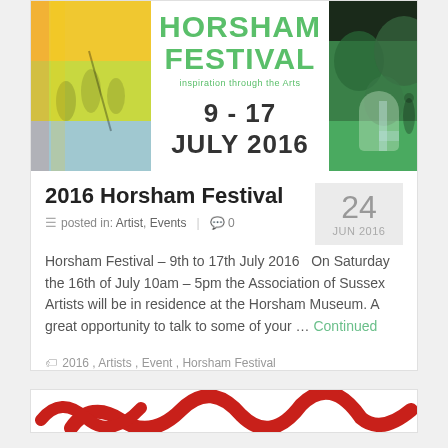[Figure (photo): Horsham Festival banner with two photos (children with circus equipment on left, woodland scene on right) and festival logo with text '9 - 17 JULY 2016' and tagline 'inspiration through the Arts' in the centre]
2016 Horsham Festival
posted in: Artist, Events  |  0
24 JUN 2016
Horsham Festival – 9th to 17th July 2016   On Saturday the 16th of July 10am – 5pm the Association of Sussex Artists will be in residence at the Horsham Museum. A great opportunity to talk to some of your … Continued
2016 , Artists , Event , Horsham Festival
[Figure (illustration): Partial view of a red decorative illustration at the bottom of the page]